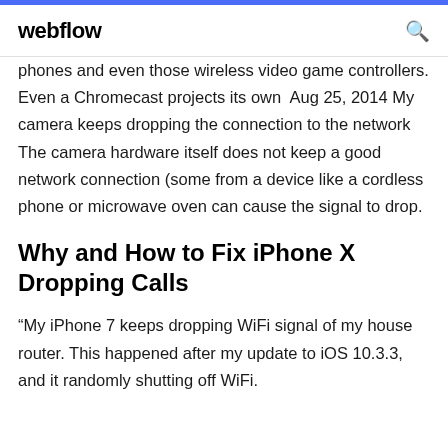webflow
phones and even those wireless video game controllers. Even a Chromecast projects its own  Aug 25, 2014 My camera keeps dropping the connection to the network The camera hardware itself does not keep a good network connection (some from a device like a cordless phone or microwave oven can cause the signal to drop.
Why and How to Fix iPhone X Dropping Calls
“My iPhone 7 keeps dropping WiFi signal of my house router. This happened after my update to iOS 10.3.3, and it randomly shutting off WiFi.